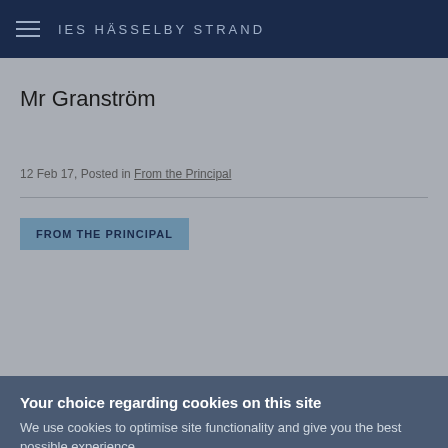IES HÄSSELBY STRAND
Mr Granström
12 Feb 17, Posted in From the Principal
FROM THE PRINCIPAL
Your choice regarding cookies on this site
We use cookies to optimise site functionality and give you the best possible experience.
I Accept  I Do Not Accept  Settings  ×